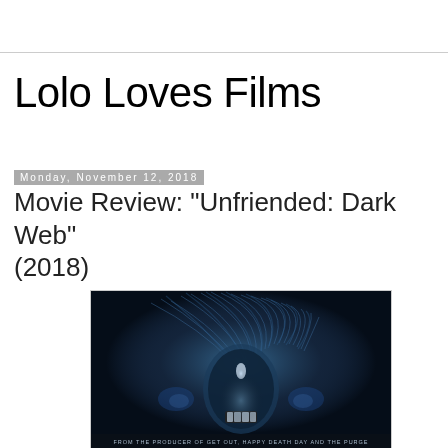Lolo Loves Films
Monday, November 12, 2018
Movie Review: "Unfriended: Dark Web" (2018)
[Figure (photo): Movie poster for Unfriended: Dark Web (2018) showing a face wrapped in plastic with light shining through, text reading FROM THE PRODUCER OF GET OUT, HAPPY DEATH DAY AND THE PURGE]